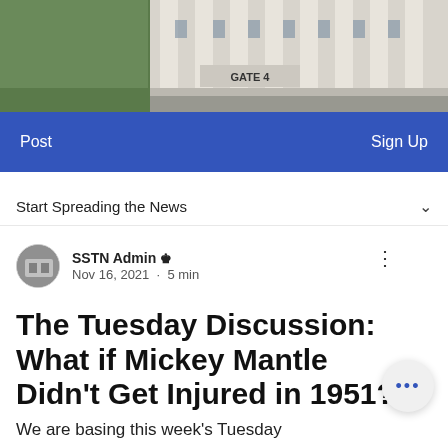[Figure (photo): Exterior photo of Yankee Stadium showing Gate 4 entrance with large columns]
Post    Sign Up
Start Spreading the News ∨
SSTN Admin 👑
Nov 16, 2021 · 5 min
The Tuesday Discussion: What if Mickey Mantle Didn't Get Injured in 1951?
We are basing this week's Tuesday